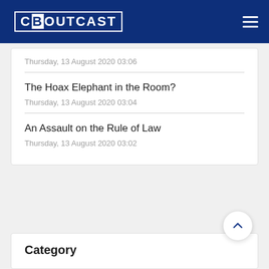CBOUTCAST
Thursday, 13 August 2020 03:06
The Hoax Elephant in the Room?
Thursday, 13 August 2020 03:04
An Assault on the Rule of Law
Thursday, 13 August 2020 03:02
Category